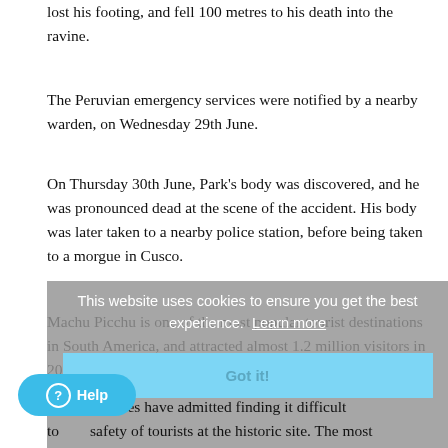lost his footing, and fell 100 metres to his death into the ravine.
The Peruvian emergency services were notified by a nearby warden, on Wednesday 29th June.
On Thursday 30th June, Park's body was discovered, and he was pronounced dead at the scene of the accident. His body was later taken to a nearby police station, before being taken to a morgue in Cusco.
Machu Picchu is one of the most popular tourist destinations in South America, and attracted almost 1.2 million visitors in 2013.
[Figure (screenshot): Cookie consent overlay with text 'This website uses cookies to ensure you get the best experience. Learn more' and a 'Got it!' button, plus a teal Help button in the bottom left.]
The authorities have admitted finding it difficult to [ensure the] safety of tourists at the historic site. The most common forms of death to occur at the